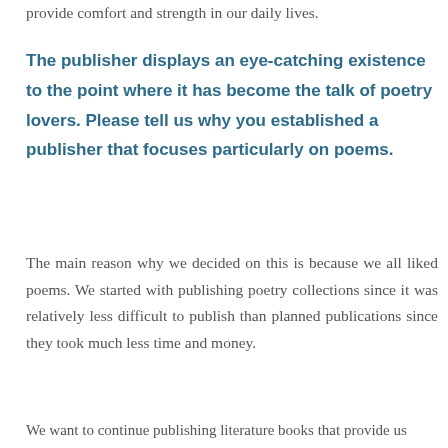provide comfort and strength in our daily lives.
The publisher displays an eye-catching existence to the point where it has become the talk of poetry lovers. Please tell us why you established a publisher that focuses particularly on poems.
The main reason why we decided on this is because we all liked poems. We started with publishing poetry collections since it was relatively less difficult to publish than planned publications since they took much less time and money.
We want to continue publishing literature books that provide us comfort